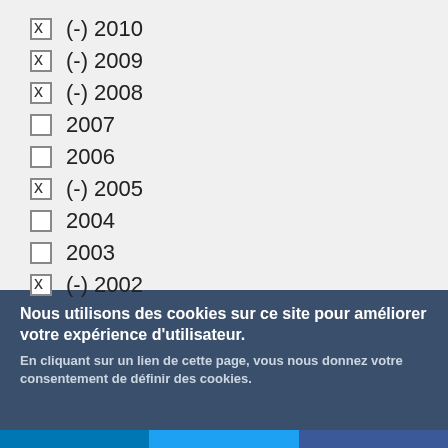x (-) 2010
x (-) 2009
x (-) 2008
2007
2006
x (-) 2005
2004
2003
x (-) 2002
Nous utilisons des cookies sur ce site pour améliorer votre expérience d'utilisateur.
En cliquant sur un lien de cette page, vous nous donnez votre consentement de définir des cookies.